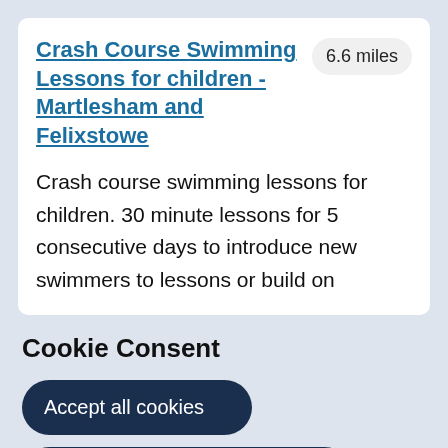Crash Course Swimming Lessons for children - Martlesham and Felixstowe
6.6 miles
Crash course swimming lessons for children. 30 minute lessons for 5 consecutive days to introduce new swimmers to lessons or build on
Cookie Consent
Accept all cookies
Only accept essential cookies
You can change your preferences at any time, and you can read more about our cookies before you choose.
Leave Website